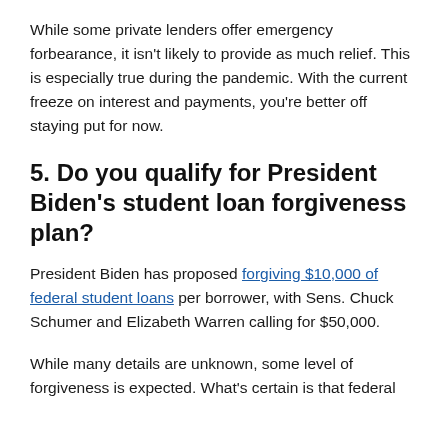While some private lenders offer emergency forbearance, it isn't likely to provide as much relief. This is especially true during the pandemic. With the current freeze on interest and payments, you're better off staying put for now.
5. Do you qualify for President Biden's student loan forgiveness plan?
President Biden has proposed forgiving $10,000 of federal student loans per borrower, with Sens. Chuck Schumer and Elizabeth Warren calling for $50,000.
While many details are unknown, some level of forgiveness is expected. What's certain is that federal